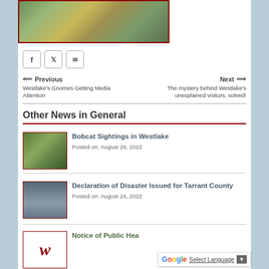[Figure (photo): Aerial photo of a landscape with fields and circular structures, bordered with dark red frame]
[Figure (infographic): Social media sharing buttons: Facebook, Twitter, Email]
← Previous
Westlake's Gnomes Getting Media Attention
Next →
The mystery behind Westlake's unexplained visitors, solved!
Other News in General
[Figure (photo): Thumbnail photo of a bobcat in green grass]
Bobcat Sightings in Westlake
Posted on: August 29, 2022
[Figure (photo): Thumbnail photo of flooded road with water]
Declaration of Disaster Issued for Tarrant County
Posted on: August 24, 2022
[Figure (logo): Westlake W logo in cursive]
Notice of Public Hea...
Select Language dropdown (Google Translate widget)